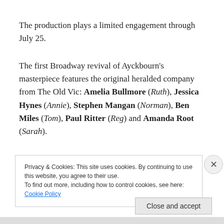The production plays a limited engagement through July 25.
The first Broadway revival of Ayckbourn's masterpiece features the original heralded company from The Old Vic: Amelia Bullmore (Ruth), Jessica Hynes (Annie), Stephen Mangan (Norman), Ben Miles (Tom), Paul Ritter (Reg) and Amanda Root (Sarah).
Privacy & Cookies: This site uses cookies. By continuing to use this website, you agree to their use.
To find out more, including how to control cookies, see here: Cookie Policy